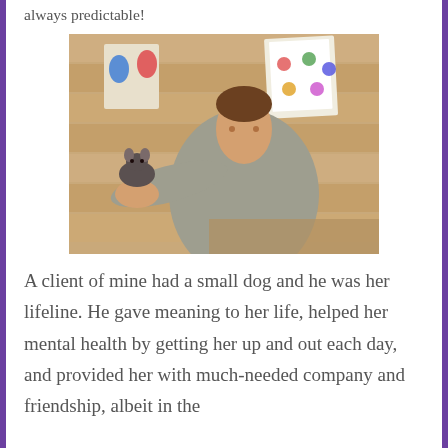always predictable!
[Figure (photo): A smiling woman holding a large rat on her outstretched hand, sitting in a wooden-walled office with papers and colorful drawings pinned to the wall behind her.]
A client of mine had a small dog and he was her lifeline. He gave meaning to her life, helped her mental health by getting her up and out each day, and provided her with much-needed company and friendship, albeit in the